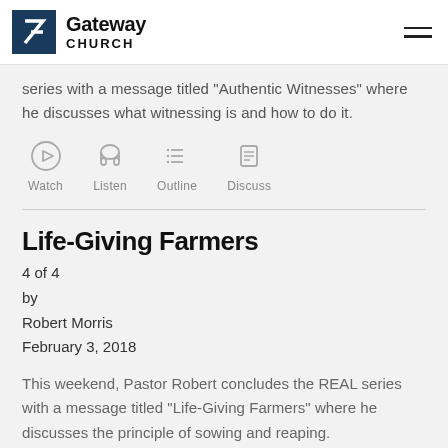Gateway Church
series with a message titled "Authentic Witnesses" where he discusses what witnessing is and how to do it.
[Figure (infographic): Four icon buttons in a row: Watch (play button circle), Listen (headphones), Outline (list icon), Discuss (document icon)]
Life-Giving Farmers
4 of 4
by
Robert Morris
February 3, 2018
This weekend, Pastor Robert concludes the REAL series with a message titled "Life-Giving Farmers" where he discusses the principle of sowing and reaping.